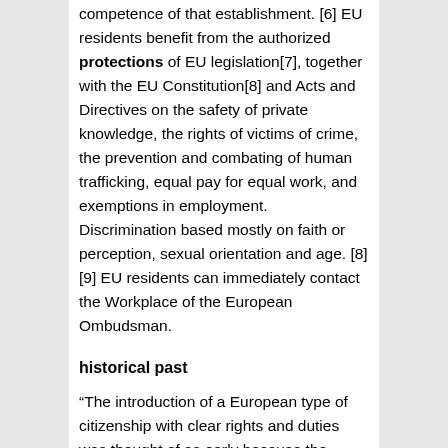competence of that establishment. [6] EU residents benefit from the authorized protections of EU legislation[7], together with the EU Constitution[8] and Acts and Directives on the safety of private knowledge, the rights of victims of crime, the prevention and combating of human trafficking, equal pay for equal work, and exemptions in employment. Discrimination based mostly on faith or perception, sexual orientation and age. [8][9] EU residents can immediately contact the Workplace of the European Ombudsman.
historical past
“The introduction of a European type of citizenship with clear rights and duties was thought of as early because the Sixties”. [11] EU citizenship was first launched by the Maastricht Treaty and prolonged by the Amsterdam Treaty. [12] Previous to the 1992 Maastricht Treaty, the European Neighborhood treaties supplied ensures for the free motion of individuals engaged in financial actions, however usually others didn’t. The 1951 Treaty of Paris[13] established the European Coal and Metal